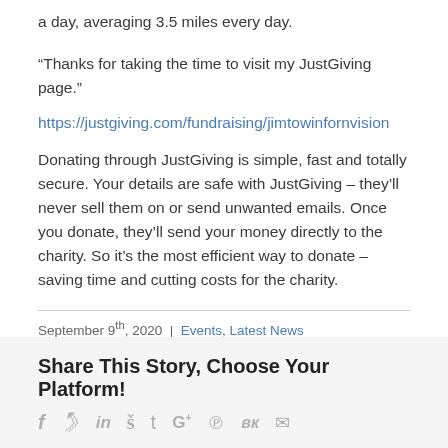a day, averaging 3.5 miles every day.
“Thanks for taking the time to visit my JustGiving page.”
https://justgiving.com/fundraising/jimtowinfornvision
Donating through JustGiving is simple, fast and totally secure. Your details are safe with JustGiving – they’ll never sell them on or send unwanted emails. Once you donate, they’ll send your money directly to the charity. So it’s the most efficient way to donate – saving time and cutting costs for the charity.
September 9th, 2020 | Events, Latest News
Share This Story, Choose Your Platform!